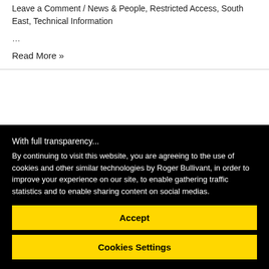Leave a Comment / News & People, Restricted Access, South East, Technical Information
…
Read More »
With full transparency...
By continuing to visit this website, you are agreeing to the use of cookies and other similar technologies by Roger Bullivant, in order to improve your experience on our site, to enable gathering traffic statistics and to enable sharing content on social medias.
Accept
Cookies Settings